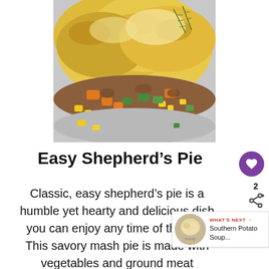[Figure (photo): Close-up of shepherd's pie showing golden mashed potato topping with visible vegetables including carrots, corn, and green peppers with ground meat filling spilling out on a plate]
Easy Shepherd's Pie
Classic, easy shepherd's pie is a humble yet hearty and delicious dish you can enjoy any time of the day. This savory mashed potato pie is made with vegetables and ground meat and it is...